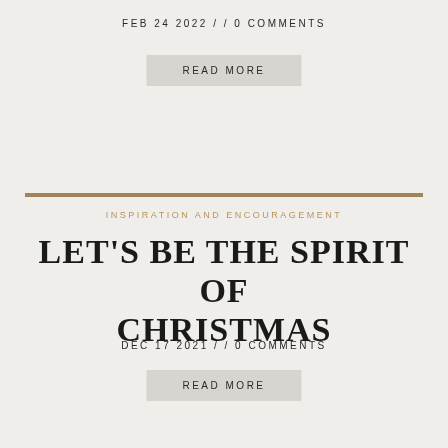FEB 24 2022 / / 0 COMMENTS
READ MORE
INSPIRATION AND ENCOURAGEMENT
LET'S BE THE SPIRIT OF CHRISTMAS
DEC 17 2021 / / 0 COMMENTS
READ MORE